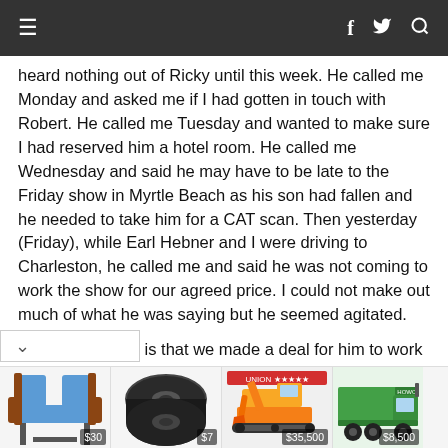≡  f  𝕿  🔍
heard nothing out of Ricky until this week. He called me Monday and asked me if I had gotten in touch with Robert. He called me Tuesday and wanted to make sure I had reserved him a hotel room. He called me Wednesday and said he may have to be late to the Friday show in Myrtle Beach as his son had fallen and he needed to take him for a CAT scan. Then yesterday (Friday), while Earl Hebner and I were driving to Charleston, he called me and said he was not coming to work the show for our agreed price. I could not make out much of what he was saying but he seemed agitated.
bottom line is that we made a deal for him to work
[Figure (photo): Advertisement bar with four product images: blue theater chair ($30), black rubber roll ($7), yellow excavator ($35,500), green dump truck ($8,500)]